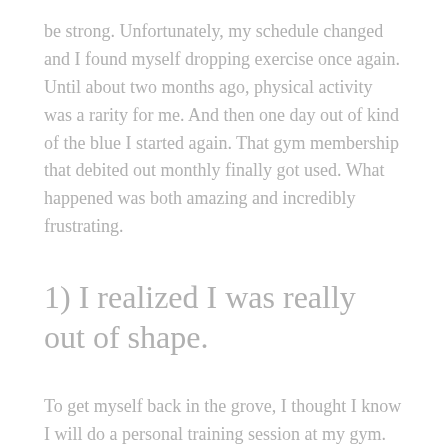be strong. Unfortunately, my schedule changed and I found myself dropping exercise once again. Until about two months ago, physical activity was a rarity for me. And then one day out of kind of the blue I started again. That gym membership that debited out monthly finally got used. What happened was both amazing and incredibly frustrating.
1) I realized I was really out of shape.
To get myself back in the grove, I thought I know I will do a personal training session at my gym. Well, bless the heart of the sweet angel who put up with me during that session as I got sweaty and frustrated that my body